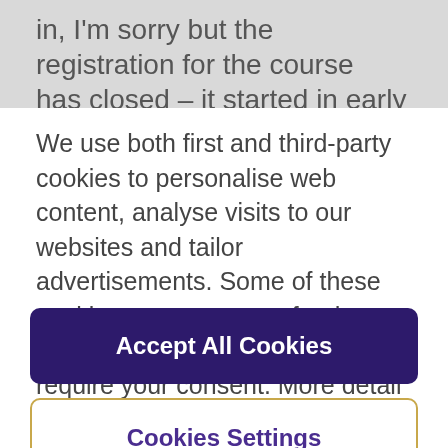in, I'm sorry but the registration for the course has closed – it started in early June and will be
We use both first and third-party cookies to personalise web content, analyse visits to our websites and tailor advertisements. Some of these cookies are necessary for the website to function, whilst others require your consent. More detail can be found in our cookie policy and you can tailor your choices in the preference centre.
Accept All Cookies
Cookies Settings